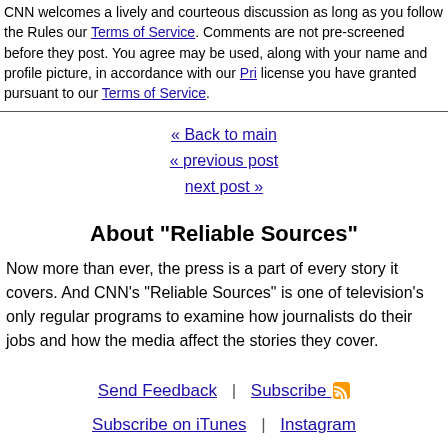CNN welcomes a lively and courteous discussion as long as you follow the Rules our Terms of Service. Comments are not pre-screened before they post. You agree may be used, along with your name and profile picture, in accordance with our Pri license you have granted pursuant to our Terms of Service.
« Back to main
« previous post
next post »
About "Reliable Sources"
Now more than ever, the press is a part of every story it covers. And CNN's "Reliable Sources" is one of television's only regular programs to examine how journalists do their jobs and how the media affect the stories they cover.
Send Feedback | Subscribe | Subscribe on iTunes | Instagram